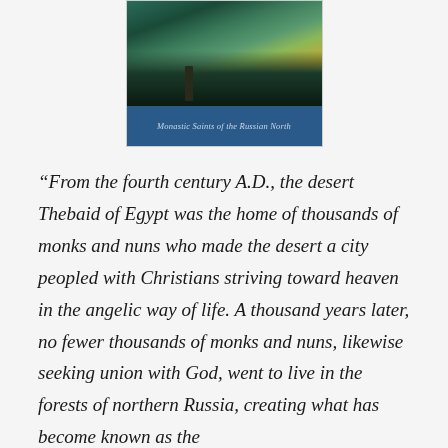[Figure (illustration): Book cover image showing a winter night scene with a dark forest cabin and a standing figure, with a blue band at the bottom reading 'Monastic Saints of the Russian North']
“From the fourth century A.D., the desert Thebaid of Egypt was the home of thousands of monks and nuns who made the desert a city peopled with Christians striving toward heaven in the angelic way of life. A thousand years later, no fewer thousands of monks and nuns, likewise seeking union with God, went to live in the forests of northern Russia, creating what has become known as the